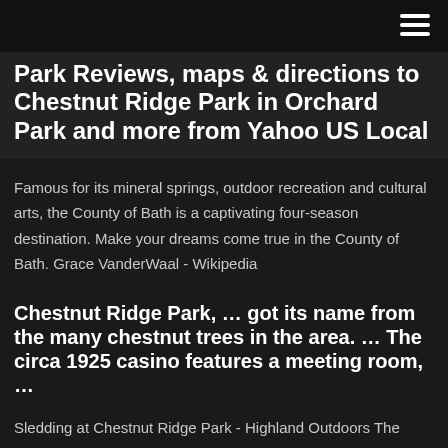Park Reviews, maps & directions to Chestnut Ridge Park in Orchard Park and more from Yahoo US Local
Famous for its mineral springs, outdoor recreation and cultural arts, the County of Bath is a captivating four-season destination. Make your dreams come true in the County of Bath. Grace VanderWaal - Wikipedia
Chestnut Ridge Park, … got its name from the many chestnut trees in the area. … The circa 1925 casino features a meeting room, …
Sledding at Chestnut Ridge Park - Highland Outdoors The